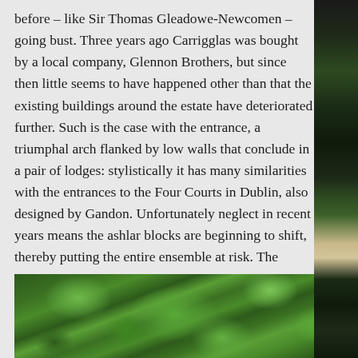before – like Sir Thomas Gleadowe-Newcomen – going bust. Three years ago Carrigglas was bought by a local company, Glennon Brothers, but since then little seems to have happened other than that the existing buildings around the estate have deteriorated further. Such is the case with the entrance, a triumphal arch flanked by low walls that conclude in a pair of lodges: stylistically it has many similarities with the entrances to the Four Courts in Dublin, also designed by Gandon. Unfortunately neglect in recent years means the ashlar blocks are beginning to shift, thereby putting the entire ensemble at risk. The structure is, of course, listed for protection.
[Figure (photo): Photograph showing dense green tree canopy vegetation, lush foliage viewed from below or at level, natural woodland scene.]